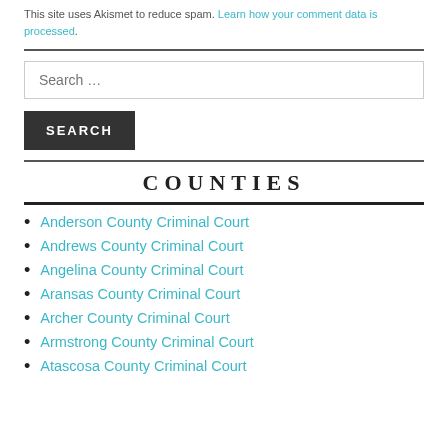This site uses Akismet to reduce spam. Learn how your comment data is processed.
Search …
SEARCH
COUNTIES
Anderson County Criminal Court
Andrews County Criminal Court
Angelina County Criminal Court
Aransas County Criminal Court
Archer County Criminal Court
Armstrong County Criminal Court
Atascosa County Criminal Court